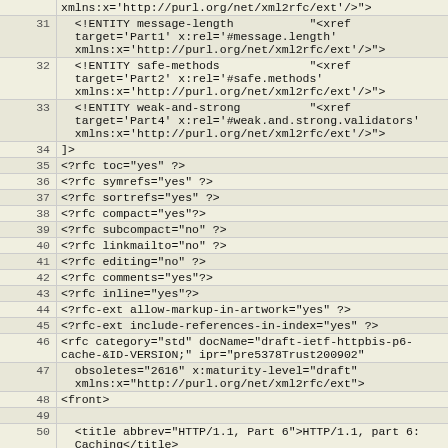| line | code |
| --- | --- |
|  | xmlns:x='http://purl.org/net/xml2rfc/ext'/>"&gt; |
| 31 |   <!ENTITY message-length           "<xref
  target='Part1' x:rel='#message.length'
  xmlns:x='http://purl.org/net/xml2rfc/ext'/>"> |
| 32 |   <!ENTITY safe-methods             "<xref
  target='Part2' x:rel='#safe.methods'
  xmlns:x='http://purl.org/net/xml2rfc/ext'/>"> |
| 33 |   <!ENTITY weak-and-strong          "<xref
  target='Part4' x:rel='#weak.and.strong.validators'
  xmlns:x='http://purl.org/net/xml2rfc/ext'/>"> |
| 34 | ]> |
| 35 | <?rfc toc="yes" ?> |
| 36 | <?rfc symrefs="yes" ?> |
| 37 | <?rfc sortrefs="yes" ?> |
| 38 | <?rfc compact="yes"?> |
| 39 | <?rfc subcompact="no" ?> |
| 40 | <?rfc linkmailto="no" ?> |
| 41 | <?rfc editing="no" ?> |
| 42 | <?rfc comments="yes"?> |
| 43 | <?rfc inline="yes"?> |
| 44 | <?rfc-ext allow-markup-in-artwork="yes" ?> |
| 45 | <?rfc-ext include-references-in-index="yes" ?> |
| 46 | <rfc category="std" docName="draft-ietf-httpbis-p6-
cache-&ID-VERSION;" ipr="pre5378Trust200902" |
| 47 |   obsoletes="2616" x:maturity-level="draft"
  xmlns:x="http://purl.org/net/xml2rfc/ext"> |
| 48 | <front> |
| 49 |  |
| 50 |   <title abbrev="HTTP/1.1, Part 6">HTTP/1.1, part 6:
  Caching</title> |
| 51 |  |
| 52 |   <author fullname="Roy T. Fielding" initials="R."
  role="editor" surname="Fielding"> |
| 53 |     <organization abbrev="Day Software">Day |